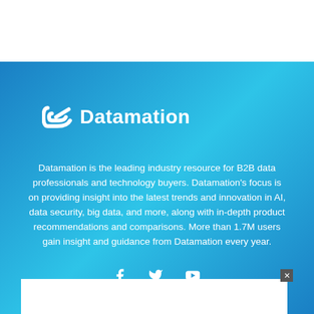[Figure (logo): Datamation logo with stylized D icon and white text on blue gradient background]
Datamation is the leading industry resource for B2B data professionals and technology buyers. Datamation's focus is on providing insight into the latest trends and innovation in AI, data security, big data, and more, along with in-depth product recommendations and comparisons. More than 1.7M users gain insight and guidance from Datamation every year.
[Figure (illustration): Social media icons: Facebook, Twitter, YouTube in white on blue gradient background]